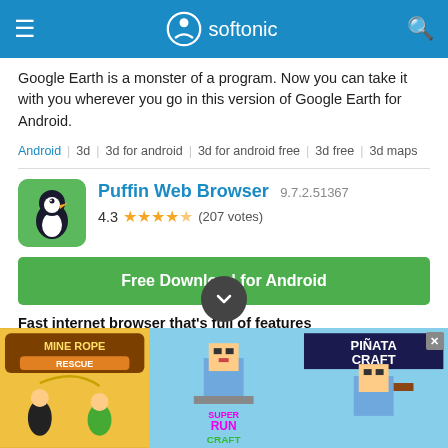softonic
Google Earth is a monster of a program. Now you can take it with you wherever you go in this version of Google Earth for Android.
Android | 3d | 3d for android | 3d for android free | 3d free | 3d maps
Puffin Web Browser 9.7.2.51367
4.3 ★★★★½ (207 votes)
Free Download for Android
Fast internet browser that's full of features
Puffin Web Browser is a web browser for Android smartphones and tablets. If you want to move away from Chrome, Firefox
[Figure (screenshot): Bottom advertisement banner showing three mobile game ads: Mine Rope Rescue, Super Run Craft, and Pinata Craft]